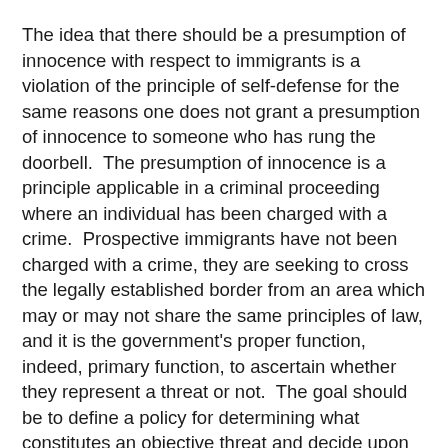The idea that there should be a presumption of innocence with respect to immigrants is a violation of the principle of self-defense for the same reasons one does not grant a presumption of innocence to someone who has rung the doorbell.  The presumption of innocence is a principle applicable in a criminal proceeding where an individual has been charged with a crime.  Prospective immigrants have not been charged with a crime, they are seeking to cross the legally established border from an area which may or may not share the same principles of law, and it is the government's proper function, indeed, primary function, to ascertain whether they represent a threat or not.  The goal should be to define a policy for determining what constitutes an objective threat and decide upon that basis whom to allow into the country.
The precise policy defining what constitutes a threat could be debated, but generally I think there are a couple of primary forms.  Someone with a criminal record or who carries an infectious disease represents a direct physical threat.  One who directly or indirectly seeks to alter or abolish our form of